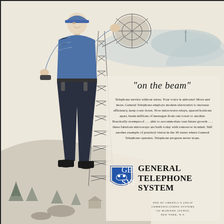[Figure (illustration): Vintage advertisement illustration of a telephone worker in blue uniform standing on a rocky hilltop, holding and adjusting a large microwave relay dish antenna mounted on a steel lattice tower. Background shows a mountain landscape with another tower visible in the distance. Blue and grey tones, mid-20th century style illustration.]
"on the beam"
Telephone service without wires. Your voice is airborne! More and more, General Telephone employs modern electronics to increase efficiency, keep costs down. Now microwave relays, spaced horizons apart, beam millions of messages from one tower to another. Practically stormproof . . . able to accommodate vast future growth . . . these fabulous microways are built today with tomorrow in mind. Still another example of practical vision in the 30 states where General Telephone operates. Telephone progress never stops.
[Figure (logo): General Telephone System shield/badge logo with telephone handset icon]
GENERAL TELEPHONE SYSTEM
ONE OF AMERICA'S GREAT COMMUNICATIONS SYSTEMS 730 MADISON AVENUE, NEW YORK, N.Y.